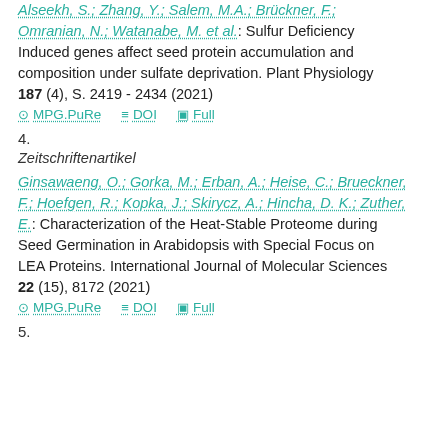Alseekh, S.; Zhang, Y.; Salem, M.A.; Brückner, F.; Omranian, N.; Watanabe, M. et al.: Sulfur Deficiency Induced genes affect seed protein accumulation and composition under sulfate deprivation. Plant Physiology 187 (4), S. 2419 - 2434 (2021)
MPG.PuRe   DOI   Full
4.
Zeitschriftenartikel
Ginsawaeng, O.; Gorka, M.; Erban, A.; Heise, C.; Brueckner, F.; Hoefgen, R.; Kopka, J.; Skirycz, A.; Hincha, D. K.; Zuther, E.: Characterization of the Heat-Stable Proteome during Seed Germination in Arabidopsis with Special Focus on LEA Proteins. International Journal of Molecular Sciences 22 (15), 8172 (2021)
MPG.PuRe   DOI   Full
5.